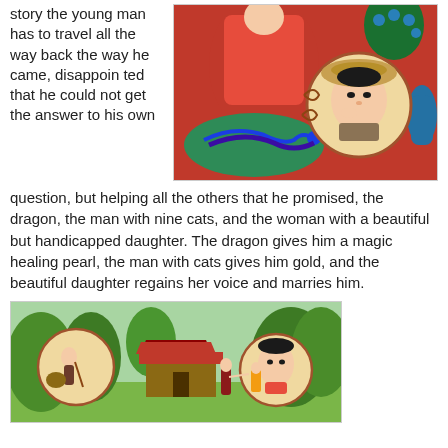story the young man has to travel all the way back the way he came, disappointed that he could not get the answer to his own
[Figure (illustration): Colorful illustration showing an Asian figure in red robes seated, with a dragon depicted below, and a circular inset portrait of a young Asian man wearing a straw hat with his hand near his chin, against a decorative background with peacock feathers and blue vase.]
question, but helping all the others that he promised, the dragon, the man with nine cats, and the woman with a beautiful but handicapped daughter. The dragon gives him a magic healing pearl, the man with cats gives him gold, and the beautiful daughter regains her voice and marries him.
[Figure (illustration): Colorful illustration showing scenes from a story: on the left a circular inset of a figure in a forest, in the center characters near a traditional Asian building, and on the right a circular inset of a young woman's portrait, all set against a lush green landscape.]